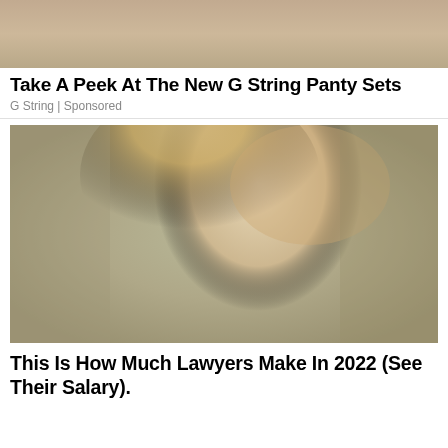[Figure (photo): Top cropped photo of a person, showing partial head/shoulder area with warm skin tones]
Take A Peek At The New G String Panty Sets
G String | Sponsored
[Figure (photo): Portrait photo of a young woman with long blonde/strawberry hair, pale complexion, looking directly at camera, soft muted background tones]
This Is How Much Lawyers Make In 2022 (See Their Salary).